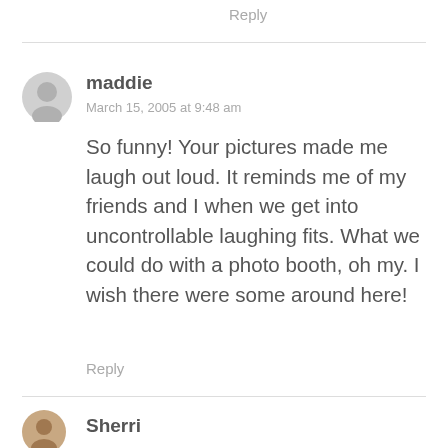Reply
maddie
March 15, 2005 at 9:48 am
So funny! Your pictures made me laugh out loud. It reminds me of my friends and I when we get into uncontrollable laughing fits. What we could do with a photo booth, oh my. I wish there were some around here!
Reply
Sherri